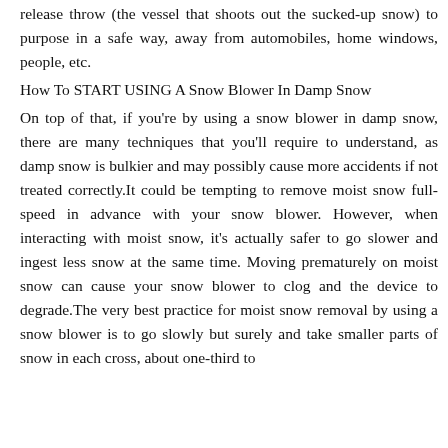release throw (the vessel that shoots out the sucked-up snow) to purpose in a safe way, away from automobiles, home windows, people, etc.
How To START USING A Snow Blower In Damp Snow
On top of that, if you're by using a snow blower in damp snow, there are many techniques that you'll require to understand, as damp snow is bulkier and may possibly cause more accidents if not treated correctly.It could be tempting to remove moist snow full-speed in advance with your snow blower. However, when interacting with moist snow, it's actually safer to go slower and ingest less snow at the same time. Moving prematurely on moist snow can cause your snow blower to clog and the device to degrade.The very best practice for moist snow removal by using a snow blower is to go slowly but surely and take smaller parts of snow in each cross, about one-third to